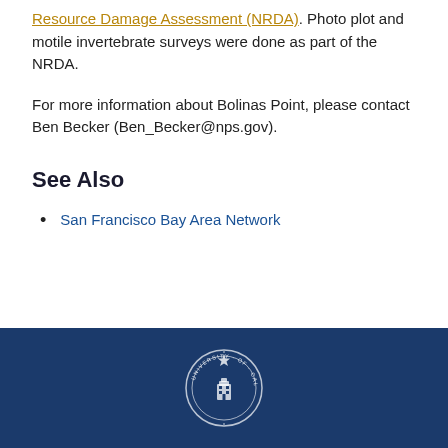Resource Damage Assessment (NRDA). Photo plot and motile invertebrate surveys were done as part of the NRDA.
For more information about Bolinas Point, please contact Ben Becker (Ben_Becker@nps.gov).
See Also
San Francisco Bay Area Network
[Figure (logo): University of California seal/logo in white on dark blue footer bar]